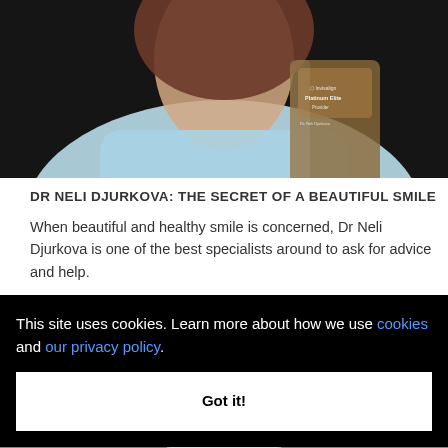[Figure (photo): A woman in light blue medical scrubs holding an Invisalign Platinum Elite Provider award on a dark background]
DR NELI DJURKOVA: THE SECRET OF A BEAUTIFUL SMILE
When beautiful and healthy smile is concerned, Dr Neli Djurkova is one of the best specialists around to ask for advice and help.
[Figure (photo): Blue geometric shapes/panels on a gray background, with a person in white coat visible at the bottom]
This site uses cookies. Learn more about how we use cookies and our privacy policy.
Got it!